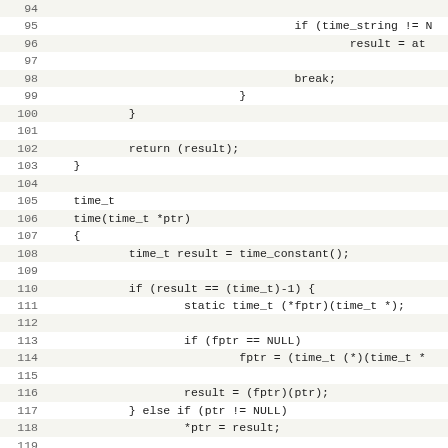Source code listing lines 94-125, C programming language showing time functions including time_t, time(), and gettimeofday()